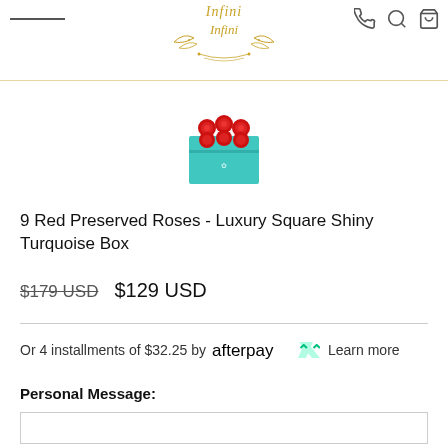Infini — store header with logo and navigation icons
[Figure (photo): Product photo: red preserved roses arranged in a teal/turquoise square box]
9 Red Preserved Roses - Luxury Square Shiny Turquoise Box
$179 USD  $129 USD
Or 4 installments of $32.25 by afterpay Learn more
Personal Message: